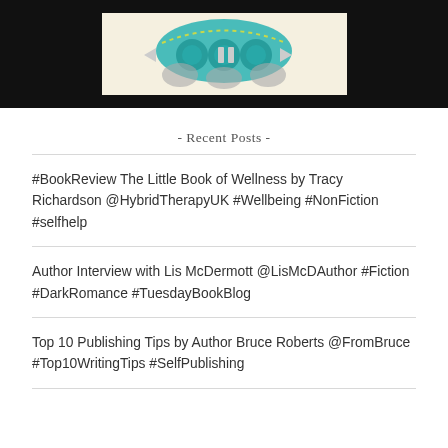[Figure (screenshot): Screenshot of a media player interface with a teal decorative circular logo/illustration on a light background, shown within a dark/black device frame. Navigation arrows and a pause button are visible.]
- Recent Posts -
#BookReview The Little Book of Wellness by Tracy Richardson @HybridTherapyUK #Wellbeing #NonFiction #selfhelp
Author Interview with Lis McDermott @LisMcDAuthor #Fiction #DarkRomance #TuesdayBookBlog
Top 10 Publishing Tips by Author Bruce Roberts @FromBruce #Top10WritingTips #SelfPublishing